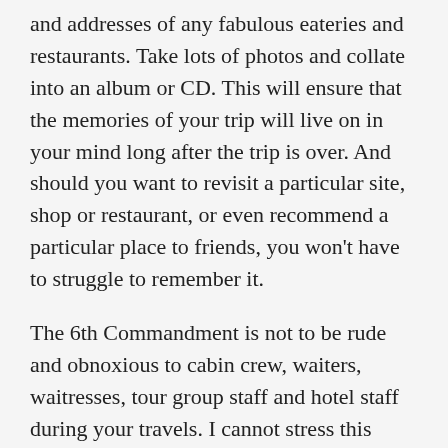and addresses of any fabulous eateries and restaurants. Take lots of photos and collate into an album or CD. This will ensure that the memories of your trip will live on in your mind long after the trip is over. And should you want to revisit a particular site, shop or restaurant, or even recommend a particular place to friends, you won't have to struggle to remember it.
The 6th Commandment is not to be rude and obnoxious to cabin crew, waiters, waitresses, tour group staff and hotel staff during your travels. I cannot stress this point enough. Although it may be instantly gratifying to vent your spleen when you are tired, irritated and frustrated during your travels, please remember that these people hold your comfort, not to mention your food, in their hands. If a complaint needs to be made, by all means do so with assertiveness, but always accompany it with respect and courtesy for the individual that you are addressing. Never resort to sarcasm or humiliation. If